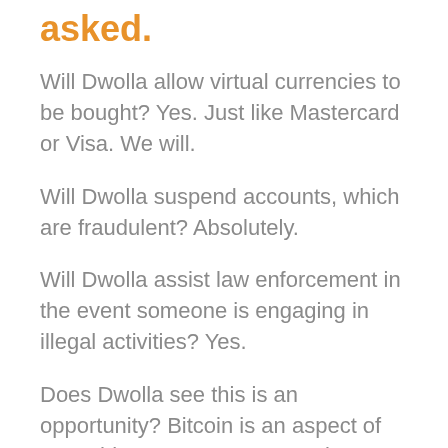asked.
Will Dwolla allow virtual currencies to be bought? Yes. Just like Mastercard or Visa. We will.
Will Dwolla suspend accounts, which are fraudulent? Absolutely.
Will Dwolla assist law enforcement in the event someone is engaging in illegal activities? Yes.
Does Dwolla see this is an opportunity? Bitcoin is an aspect of something great we too are also doing. We are building something that never existed before, on top of a payment network that never existed before, utilizing